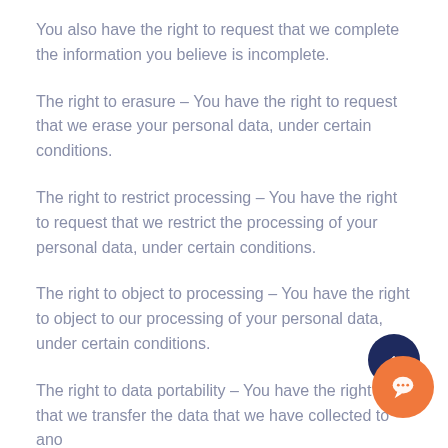You also have the right to request that we complete the information you believe is incomplete.
The right to erasure – You have the right to request that we erase your personal data, under certain conditions.
The right to restrict processing – You have the right to request that we restrict the processing of your personal data, under certain conditions.
The right to object to processing – You have the right to object to our processing of your personal data, under certain conditions.
The right to data portability – You have the right t… that we transfer the data that we have collected to an…